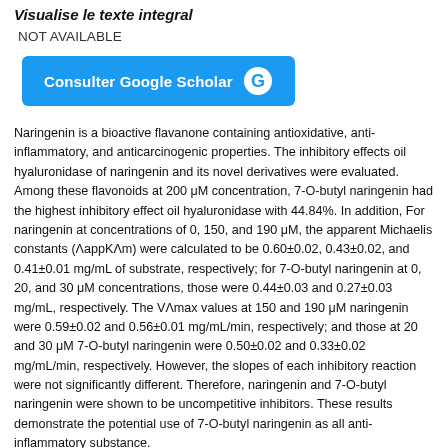Visualise le texte integral
NOT AVAILABLE
[Figure (other): Blue button labeled 'Consulter Google Scholar' with Google G logo]
Naringenin is a bioactive flavanone containing antioxidative, anti-inflammatory, and anticarcinogenic properties. The inhibitory effects oil hyaluronidase of naringenin and its novel derivatives were evaluated. Among these flavonoids at 200 μM concentration, 7-O-butyl naringenin had the highest inhibitory effect oil hyaluronidase with 44.84%. In addition, For naringenin at concentrations of 0, 150, and 190 μM, the apparent Michaelis constants (ΛappKΛm) were calculated to be 0.60±0.02, 0.43±0.02, and 0.41±0.01 mg/mL of substrate, respectively; for 7-O-butyl naringenin at 0, 20, and 30 μM concentrations, those were 0.44±0.03 and 0.27±0.03 mg/mL, respectively. The VΛmax values at 150 and 190 μM naringenin were 0.59±0.02 and 0.56±0.01 mg/mL/min, respectively; and those at 20 and 30 μM 7-O-butyl naringenin were 0.50±0.02 and 0.33±0.02 mg/mL/min, respectively. However, the slopes of each inhibitory reaction were not significantly different. Therefore, naringenin and 7-O-butyl naringenin were shown to be uncompetitive inhibitors. These results demonstrate the potential use of 7-O-butyl naringenin as all anti-inflammatory substance.
(Revue
Food Science and Biotechnology
ISSN : 1226-7708